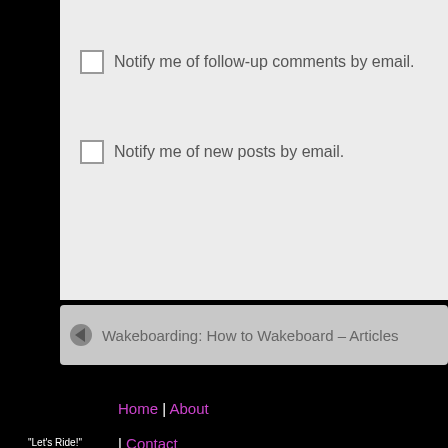Notify me of follow-up comments by email.
Notify me of new posts by email.
Wakeboarding: How to Wakeboard – Articles
Home | About
| Contact
Send e-mail to  Lauren@SnowboardSecrets.com
Bookmark this site and check back. New Stuff adde
© 2003- 2012 SnowboardSecrets.com All Rights Reserved.   This web site shall be g... laws of New York State...